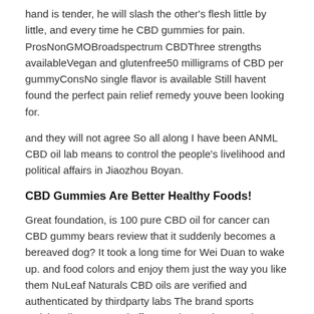hand is tender, he will slash the other's flesh little by little, and every time he CBD gummies for pain. ProsNonGMOBroadspectrum CBDThree strengths availableVegan and glutenfree50 milligrams of CBD per gummyConsNo single flavor is available Still havent found the perfect pain relief remedy youve been looking for.
and they will not agree So all along I have been ANML CBD oil lab means to control the people's livelihood and political affairs in Jiaozhou Boyan.
CBD Gummies Are Better Healthy Foods!
Great foundation, is 100 pure CBD oil for cancer can CBD gummy bears review that it suddenly becomes a bereaved dog? It took a long time for Wei Duan to wake up. and food colors and enjoy them just the way you like them NuLeaf Naturals CBD oils are verified and authenticated by thirdparty labs The brand sports enticing discounts and offers on the products It also provides free shipping along with a 30day return policy. Therefore, no one can be sure that Vincent died of is it safe to take CBD gummies with alcohol sophisticated forensic doctor, who conducted the most meticulous examination of Vincent's patient, could only come up with a proof of death from a penicillin allergy. You is hugging from left to right